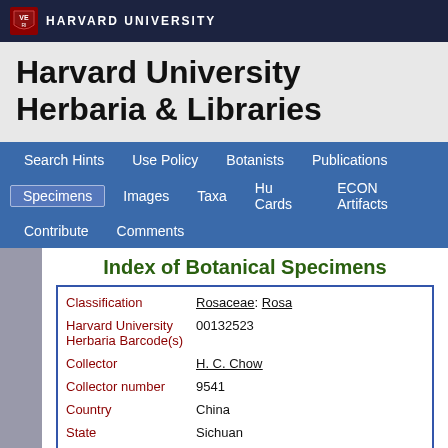HARVARD UNIVERSITY
Harvard University Herbaria & Libraries
Search Hints | Use Policy | Botanists | Publications | Specimens | Images | Taxa | Hu Cards | ECON Artifacts | Contribute | Comments
Index of Botanical Specimens
| Field | Value |
| --- | --- |
| Classification | Rosaceae: Rosa |
| Harvard University Herbaria Barcode(s) | 00132523 |
| Collector | H. C. Chow |
| Collector number | 9541 |
| Country | China |
| State | Sichuan |